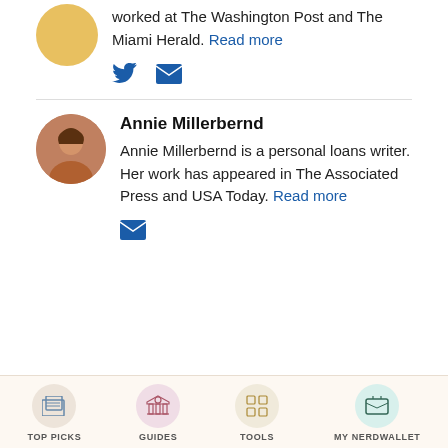worked at The Washington Post and The Miami Herald. Read more
[Figure (illustration): Social media icons: Twitter bird icon and email envelope icon in blue]
Annie Millerbernd
Annie Millerbernd is a personal loans writer. Her work has appeared in The Associated Press and USA Today. Read more
[Figure (illustration): Email envelope icon in blue]
TOP PICKS   GUIDES   TOOLS   MY NERDWALLET